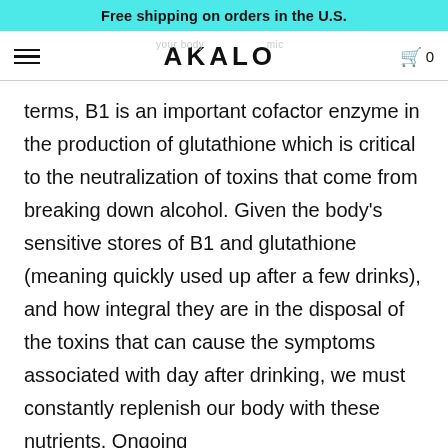Free shipping on orders in the U.S.
AKALO
terms, B1 is an important cofactor enzyme in the production of glutathione which is critical to the neutralization of toxins that come from breaking down alcohol. Given the body's sensitive stores of B1 and glutathione (meaning quickly used up after a few drinks), and how integral they are in the disposal of the toxins that can cause the symptoms associated with day after drinking, we must constantly replenish our body with these nutrients. Ongoing